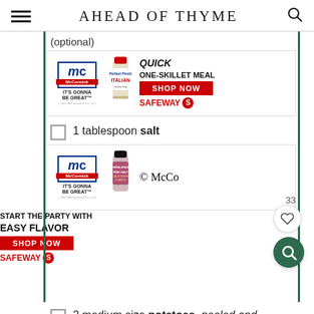AHEAD OF THYME
(optional)
[Figure (other): McCormick advertisement - Quick One-Skillet Meal, Shop Now, Safeway]
1 tablespoon salt
[Figure (other): McCormick advertisement - Start The Party With Easy Flavor, Shop Now, Safeway]
2 medium size potatoes, peeled and halved (optional)
1 tablespoon parsley, chopped (for garnish)